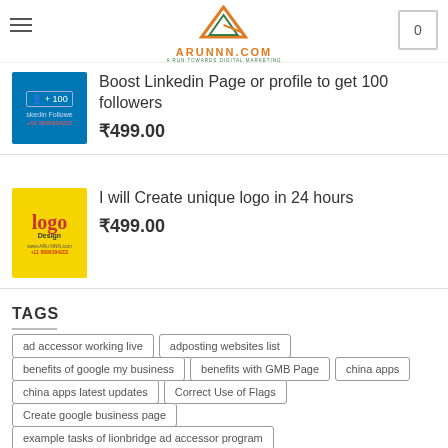ARUNNN.COM - A RUN TOWARDS DIGITAL MARKETING
[Figure (screenshot): LinkedIn followers product thumbnail - blue background with person icon and +100]
Boost Linkedin Page or profile to get 100 followers
₹499.00
[Figure (screenshot): Logo design product thumbnail - yellow background with logo text]
I will Create unique logo in 24 hours
₹499.00
TAGS
ad accessor working live
adposting websites list
benefits of google my business
benefits with GMB Page
china apps
china apps latest updates
Correct Use of Flags
Create google business page
example tasks of lionbridge ad accessor program